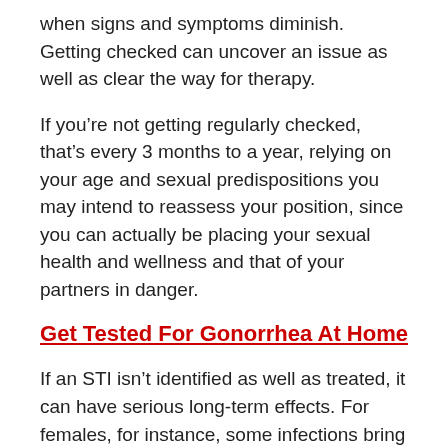when signs and symptoms diminish. Getting checked can uncover an issue as well as clear the way for therapy.
If you’re not getting regularly checked, that’s every 3 months to a year, relying on your age and sexual predispositions you may intend to reassess your position, since you can actually be placing your sexual health and wellness and that of your partners in danger.
Get Tested For Gonorrhea At Home
If an STI isn’t identified as well as treated, it can have serious long-term effects. For females, for instance, some infections bring a threat of triggering pelvic inflammatory disease, a painful persistent disease that can possibly jeopardize